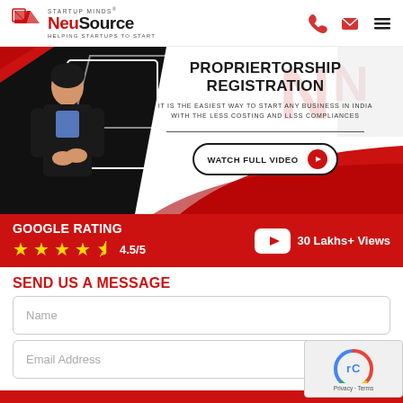[Figure (logo): NeuSource Startup Minds logo with red flag icon and tagline HELPING STARTUPS TO START]
[Figure (infographic): Proprietorship Registration banner with woman in blazer, red/black/white background, watch full video button]
GOOGLE RATING
4.5/5  30 Lakhs+ Views
SEND US A MESSAGE
Name
Email Address